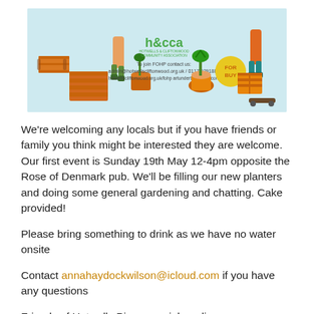[Figure (illustration): h&cca (Hotwells & Cliftonwood Community Association) banner with cartoon illustrations of community members and garden items (barrels, planters, crates, skateboard). Text: 'To join FOHP contact us: admin@hotwellscliftonwood.org.uk / 0117 9291883 hotwellscliftonwood.org.uk/fohp artundertheflyover.com']
We're welcoming any locals but if you have friends or family you think might be interested they are welcome. Our first event is Sunday 19th May 12-4pm opposite the Rose of Denmark pub. We'll be filling our new planters and doing some general gardening and chatting. Cake provided!
Please bring something to drink as we have no water onsite
Contact annahaydockwilson@icloud.com if you have any questions
Friends of Hotwells Piazza social media pages are being created, but in the meantime you can like Art under the Flyover on Facebook or visit